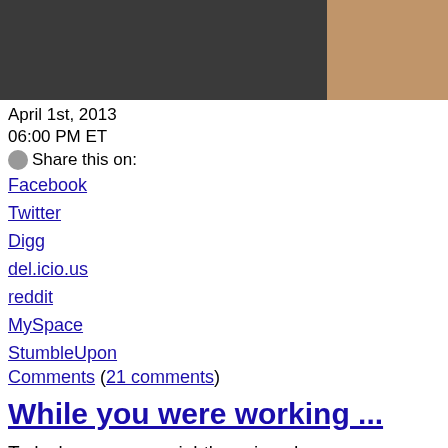[Figure (photo): Photo strip showing two people, left portion shows person in dark jacket, right portion shows another person]
April 1st, 2013
06:00 PM ET
Share this on:
Facebook
Twitter
Digg
del.icio.us
reddit
MySpace
StumbleUpon
Comments (21 comments)
While you were working ...
Today's news you might've missed:
Orlando Bloom already has a reputation from wooing fans with his looks, and now he's putting them to good use on the stage. The "Lord of the Rings" star will portray Romeo in "Romeo and Juliet" opposite Phylicia Rasha
With all of the rumored changes happening at NBC, it's nice to know one late night. Conan O'Brien is sticking with TBS and "Conan" throug